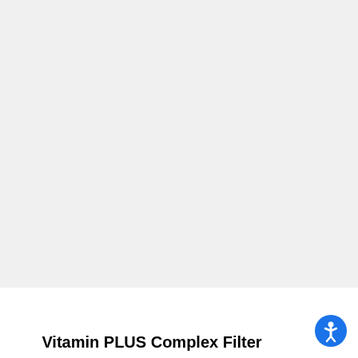[Figure (other): Large light gray rectangle occupying the upper portion of the page, likely a placeholder for a product image.]
Vitamin PLUS Complex Filter